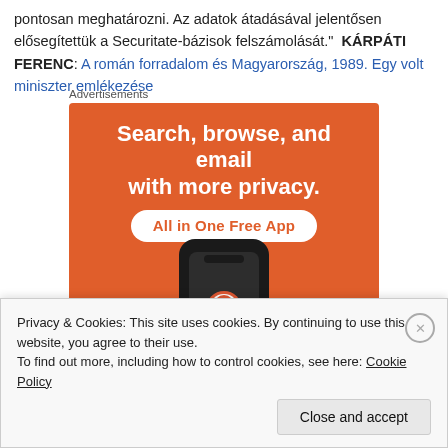pontosan meghatározni. Az adatok átadásával jelentősen elősegítettük a Securitate-bázisok felszámolását." KÁRPÁTI FERENC: A román forradalom és Magyarország, 1989. Egy volt miniszter emlékezése
[Figure (screenshot): DuckDuckGo advertisement banner on orange background with text 'Search, browse, and email with more privacy. All in One Free App' and a smartphone showing the DuckDuckGo logo]
Privacy & Cookies: This site uses cookies. By continuing to use this website, you agree to their use.
To find out more, including how to control cookies, see here: Cookie Policy